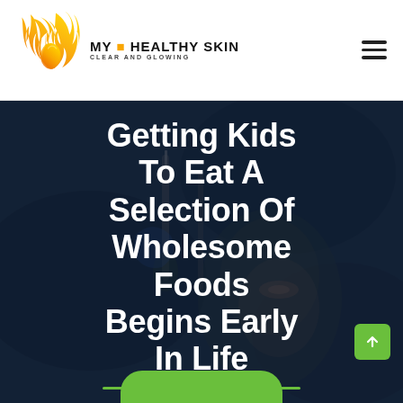[Figure (logo): My Healthy Skin logo with flame/face icon in orange/yellow gradient and text 'MY HEALTHY SKIN CLEAR AND GLOWING']
[Figure (other): Hamburger menu icon (three horizontal lines)]
[Figure (photo): Dark background hero image showing a close-up of a skin treatment/beauty procedure]
Getting Kids To Eat A Selection Of Wholesome Foods Begins Early In Life